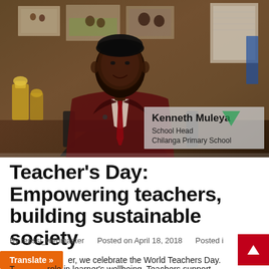[Figure (photo): Photo of Kenneth Muleya, School Head of Chilanga Primary School, seated in an office wearing a dark suit with red tie. Name tag overlay visible in lower right of photo.]
Teacher's Day: Empowering teachers, building sustainable society
By repssi_webmaster   Posted on April 18, 2018   Posted i
T   er, we celebrate the World Teachers Day. T   role in learner's wellbeing. Teachers support